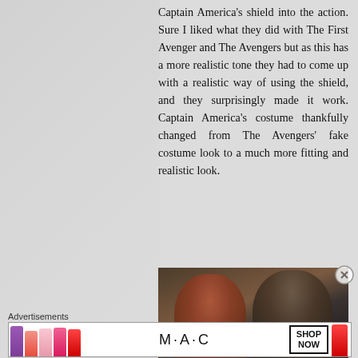Captain America's shield into the action. Sure I liked what they did with The First Avenger and The Avengers but as this has a more realistic tone they had to come up with a realistic way of using the shield, and they surprisingly made it work. Captain America's costume thankfully changed from The Avengers' fake costume look to a much more fitting and realistic look.
[Figure (photo): Two people facing each other in a dark, dramatic setting — one with auburn/red hair (left) and one with dark short hair (right), appearing to be from the Captain America: The Winter Soldier film.]
Advertisements
[Figure (photo): MAC cosmetics advertisement banner featuring colorful lipsticks on the left, MAC logo in the center, and a SHOP NOW box on the right.]